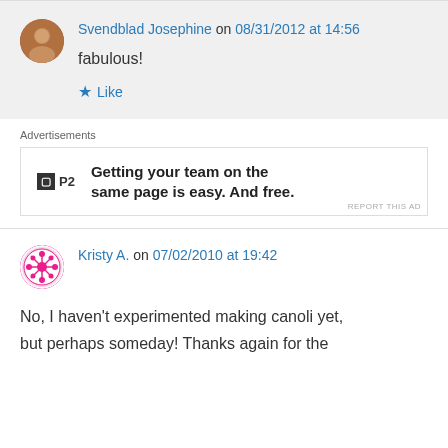Svendblad Josephine on 08/31/2012 at 14:56
fabulous!
Like
Advertisements
[Figure (screenshot): P2 advertisement: Getting your team on the same page is easy. And free.]
Kristy A. on 07/02/2010 at 19:42
No, I haven't experimented making canoli yet, but perhaps someday! Thanks again for the